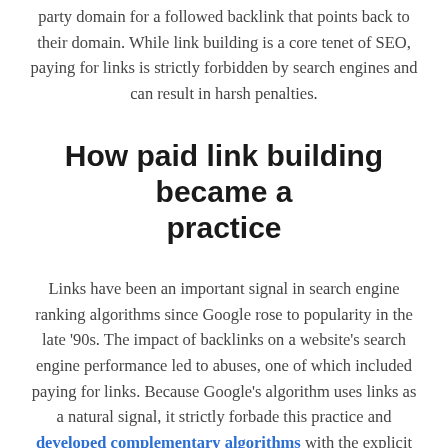party domain for a followed backlink that points back to their domain. While link building is a core tenet of SEO, paying for links is strictly forbidden by search engines and can result in harsh penalties.
How paid link building became a practice
Links have been an important signal in search engine ranking algorithms since Google rose to popularity in the late '90s. The impact of backlinks on a website's search engine performance led to abuses, one of which included paying for links. Because Google's algorithm uses links as a natural signal, it strictly forbade this practice and developed complementary algorithms with the explicit purpose of identifying websites who utilized unnatural linking practices. The most well-known of these algorithms was nicknamed "Penguin," released in 2012.